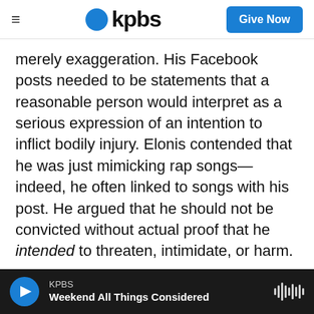KPBS — Give Now
merely exaggeration. His Facebook posts needed to be statements that a reasonable person would interpret as a serious expression of an intention to inflict bodily injury. Elonis contended that he was just mimicking rap songs—indeed, he often linked to songs with his post. He argued that he should not be convicted without actual proof that he intended to threaten, intimidate, or harm.

The intent standard that Elonis argued for might make it much more difficult to win a conviction for making illegal threats. But whatever rule the justices come up with, observes University of
KPBS — Weekend All Things Considered